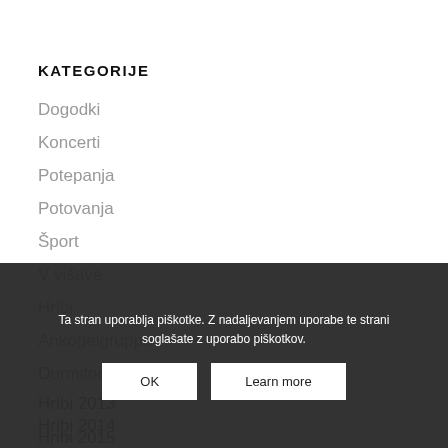KATEGORIJE
Dogodki
Koncerti
Potepanja
Potovanja
Šport
V višave
Hribi
Ankogelgruppe
Durmitor
Hribi 2013
Hribi 2014
Hribi 2015
Hribi 2016
Ta stran uporablja piškotke. Z nadaljevanjem uporabe te strani soglašate z uporabo piškotkov.
OK
Learn more